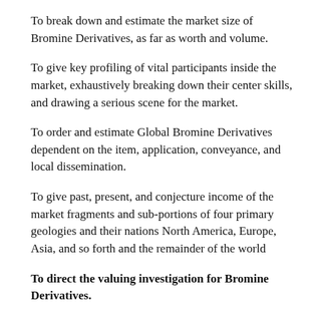To break down and estimate the market size of Bromine Derivatives, as far as worth and volume.
To give key profiling of vital participants inside the market, exhaustively breaking down their center skills, and drawing a serious scene for the market.
To order and estimate Global Bromine Derivatives dependent on the item, application, conveyance, and local dissemination.
To give past, present, and conjecture income of the market fragments and sub-portions of four primary geologies and their nations North America, Europe, Asia, and so forth and the remainder of the world
To direct the valuing investigation for Bromine Derivatives.